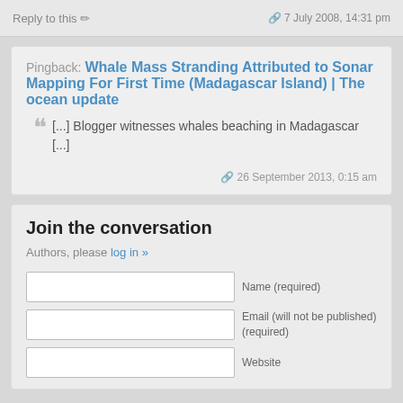Reply to this
7 July 2008, 14:31 pm
Pingback: Whale Mass Stranding Attributed to Sonar Mapping For First Time (Madagascar Island) | The ocean update
[...] Blogger witnesses whales beaching in Madagascar [...]
26 September 2013, 0:15 am
Join the conversation
Authors, please log in »
Name (required)
Email (will not be published) (required)
Website